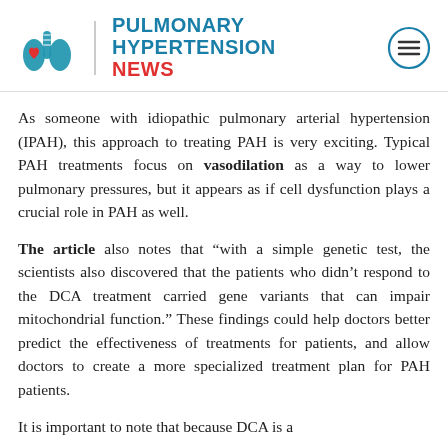PULMONARY HYPERTENSION NEWS
As someone with idiopathic pulmonary arterial hypertension (IPAH), this approach to treating PAH is very exciting. Typical PAH treatments focus on vasodilation as a way to lower pulmonary pressures, but it appears as if cell dysfunction plays a crucial role in PAH as well.
The article also notes that “with a simple genetic test, the scientists also discovered that the patients who didn’t respond to the DCA treatment carried gene variants that can impair mitochondrial function.” These findings could help doctors better predict the effectiveness of treatments for patients, and allow doctors to create a more specialized treatment plan for PAH patients.
It is important to note that because DCA is a